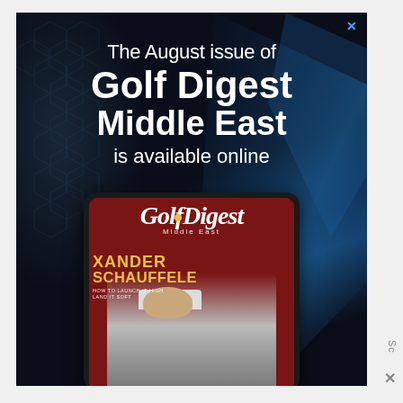[Figure (illustration): Golf Digest Middle East magazine advertisement on dark blue/black hexagonal patterned background with blue light streaks on right side. Shows text 'The August issue of Golf Digest Middle East is available online' in white. Below is a tablet/device showing the Golf Digest Middle East magazine cover featuring Xander Schauffele with yellow text and a golfer image on red background.]